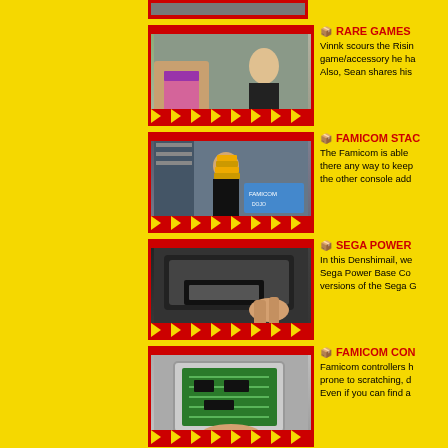[Figure (photo): Partial thumbnail at top - cropped image visible]
[Figure (photo): Video thumbnail showing hands holding pink item with person in background - Rare Games entry]
RARE GAMES
Vinnk scours the Rising game/accessory he ha Also, Sean shares his
[Figure (photo): Video thumbnail showing man holding stacked Famicom consoles with Famicom Dojo sign - Famicom Stack entry]
FAMICOM STACK
The Famicom is able there any way to keep the other console add
[Figure (photo): Video thumbnail showing close up of Sega Power Base Converter being inserted - Sega Power entry]
SEGA POWER
In this Denshimail, we Sega Power Base Co versions of the Sega G
[Figure (photo): Video thumbnail showing circuit board inside cartridge/console - Famicom Controllers entry]
FAMICOM CON
Famicom controllers h prone to scratching, d Even if you can find a
Promos